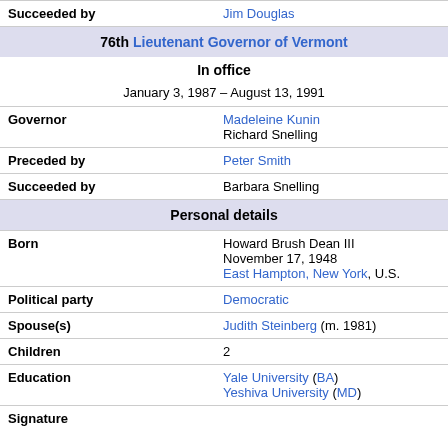| Succeeded by | Jim Douglas |
| 76th Lieutenant Governor of Vermont |  |
| In office |  |
| January 3, 1987 – August 13, 1991 |  |
| Governor | Madeleine Kunin
Richard Snelling |
| Preceded by | Peter Smith |
| Succeeded by | Barbara Snelling |
| Personal details |  |
| Born | Howard Brush Dean III
November 17, 1948
East Hampton, New York, U.S. |
| Political party | Democratic |
| Spouse(s) | Judith Steinberg (m. 1981) |
| Children | 2 |
| Education | Yale University (BA)
Yeshiva University (MD) |
| Signature |  |